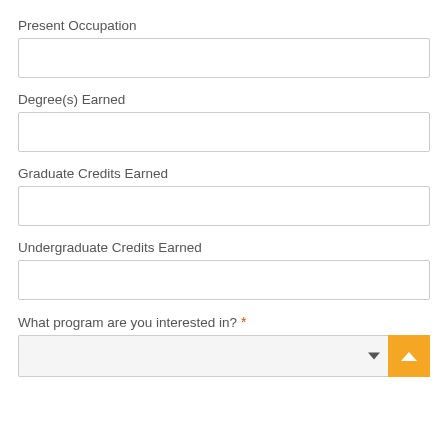Present Occupation
Degree(s) Earned
Graduate Credits Earned
Undergraduate Credits Earned
What program are you interested in? *